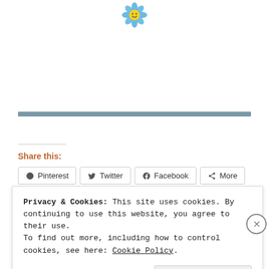[Figure (illustration): Small cartoon flower icon with smiley face, blue petals and yellow center]
[Figure (other): Horizontal steel-blue divider bar spanning nearly full width]
Share this:
Pinterest  Twitter  Facebook  More
Privacy & Cookies: This site uses cookies. By continuing to use this website, you agree to their use.
To find out more, including how to control cookies, see here: Cookie Policy.
Close and accept